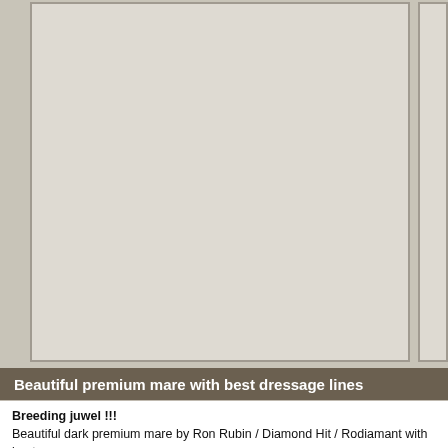[Figure (photo): Image placeholder area showing a light beige/grey empty box, possibly a horse photo area with a border]
Beautiful premium mare with best dressage lines
Breeding juwel !!!

Beautiful dark premium mare by Ron Rubin / Diamond Hit / Rodiamant with best

The mare has three very good gaits with a lot of elastic and rhythm. She is very 2011 a very good mare performance test in Oldenburg and has become the pre- ridden. The video is from beginning rider training from 2011. Bildschöne 4- Jähri- Hit

But her blood probably one of the most important for a breeding cariere. Father of the Finnlaenderin ) His mother is the fullsister to the starshire Don Schufro (N Olympia and Rohdiamant himself, also one of the bes dressage horse maker in from Don Schufro and Don Schufro himself are standing in her pedigree. The da also very interessting for breeding dressurhorses. The mother brought with Davi daughter of the mother with Don Renoir the also licensed stallion "Edingburgh va

Other horses by breeder on request. www.quadriga-pferdehaltung.de